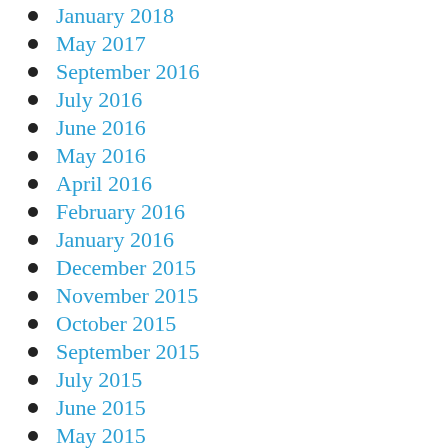January 2018
May 2017
September 2016
July 2016
June 2016
May 2016
April 2016
February 2016
January 2016
December 2015
November 2015
October 2015
September 2015
July 2015
June 2015
May 2015
April 2015